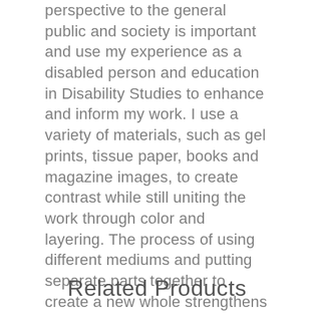perspective to the general public and society is important and use my experience as a disabled person and education in Disability Studies to enhance and inform my work. I use a variety of materials, such as gel prints, tissue paper, books and magazine images, to create contrast while still uniting the work through color and layering. The process of using different mediums and putting separate parts together to create a new whole strengthens the messages of the work.
Related Products